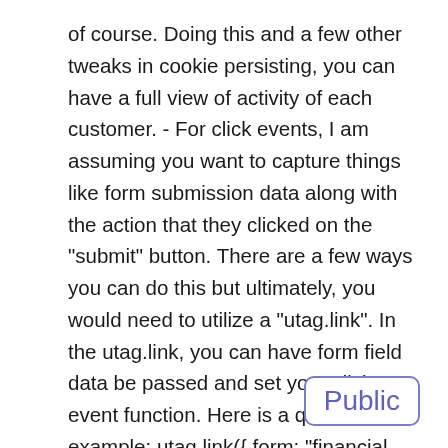of course. Doing this and a few other tweaks in cookie persisting, you can have a full view of activity of each customer. - For click events, I am assuming you want to capture things like form submission data along with the action that they clicked on the "submit" button. There are a few ways you can do this but ultimately, you would need to utilize a "utag.link". In the utag.link, you can have form field data be passed and set your click event function. Here is a quick example: utag.link({ form: "financial advising inquiry", [form indication] typeofservice: serviceType.toLowerCase(), [capture field] investmentrange: investmentRange.toLowerCase(), [capture field] date: date, [capture field] event: "event10", [indicator to fire an event to site catalyst. Must be mapped in tag "financial advising inquiry" [naming your site catalyst link
Public